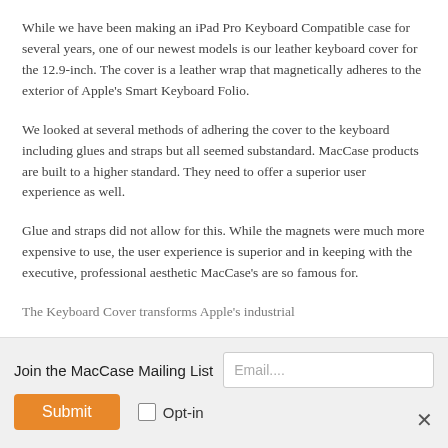While we have been making an iPad Pro Keyboard Compatible case for several years, one of our newest models is our leather keyboard cover for the 12.9-inch. The cover is a leather wrap that magnetically adheres to the exterior of Apple's Smart Keyboard Folio.
We looked at several methods of adhering the cover to the keyboard including glues and straps but all seemed substandard. MacCase products are built to a higher standard. They need to offer a superior user experience as well.
Glue and straps did not allow for this. While the magnets were much more expensive to use, the user experience is superior and in keeping with the executive, professional aesthetic MacCase's are so famous for.
The Keyboard Cover transforms Apple's industrial
Join the MacCase Mailing List
Email....
Submit
Opt-in